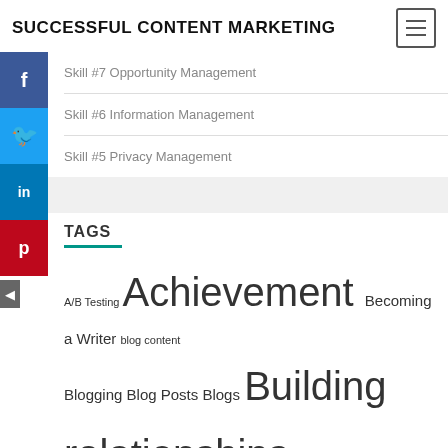SUCCESSFUL CONTENT MARKETING
Skill #7 Opportunity Management
Skill #6 Information Management
Skill #5 Privacy Management
TAGS
A/B Testing Achievement Becoming a Writer blog content Blogging Blog Posts Blogs Building relationships Building Website Business Plan Business stories Content Writer cost effective CRM Customer Relations Customer Relationship Managers Customers Customer Service Efficiency Email